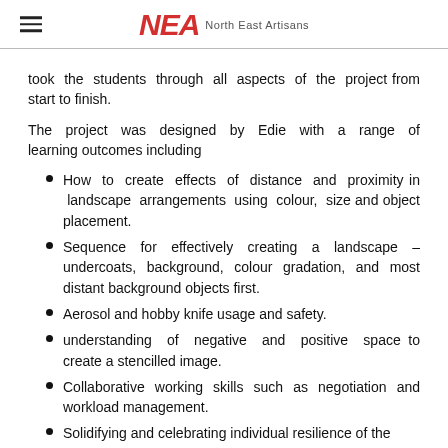NEA North East Artisans
took the students through all aspects of the project from start to finish.
The project was designed by Edie with a range of learning outcomes including
How to create effects of distance and proximity in landscape arrangements using colour, size and object placement.
Sequence for effectively creating a landscape – undercoats, background, colour gradation, and most distant background objects first.
Aerosol and hobby knife usage and safety.
understanding of negative and positive space to create a stencilled image.
Collaborative working skills such as negotiation and workload management.
Solidifying and celebrating individual resilience of the